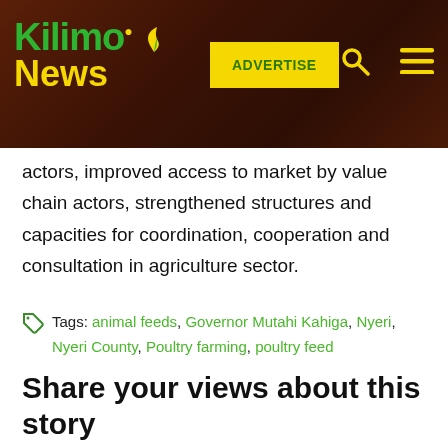[Figure (logo): Kilimo News logo with green and yellow text on dark brown background, with advertise button, search icon, and menu icon]
actors, improved access to market by value chain actors, strengthened structures and capacities for coordination, cooperation and consultation in agriculture sector.
Tags: animal feeds, Governor Mutahi Kahiga, Nyeri, Nyeri County, Poultry farming, poultry feed
Share your views about this story